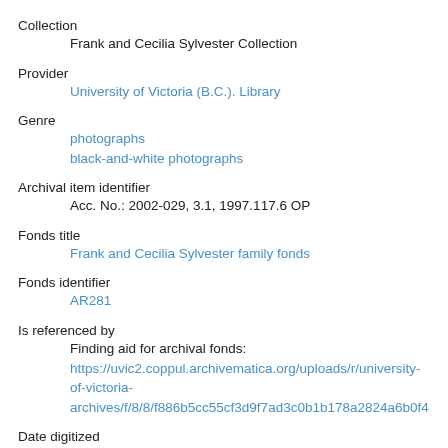Collection
    Frank and Cecilia Sylvester Collection
Provider
    University of Victoria (B.C.). Library
Genre
    photographs
    black-and-white photographs
Archival item identifier
    Acc. No.: 2002-029, 3.1, 1997.117.6 OP
Fonds title
    Frank and Cecilia Sylvester family fonds
Fonds identifier
    AR281
Is referenced by
    Finding aid for archival fonds:
    https://uvic2.coppul.archivematica.org/uploads/r/university-of-victoria-archives/f/8/8/f886b5cc55cf3d9f7ad3c0b1b178a2824a6b0f4...
Date digitized